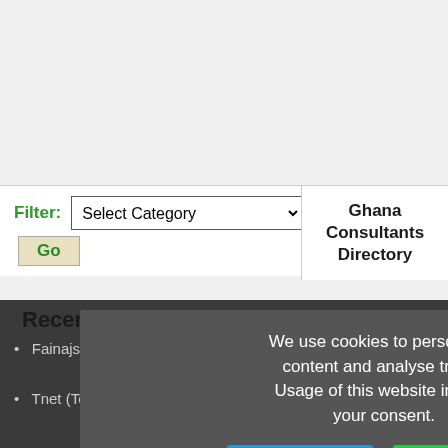Filter: Select Category Go
Ghana Consultants Directory
Recent Entries
Fainajs E...
Tnet (Telstarnet Gh. Ltd.)
[Figure (screenshot): Cookie consent overlay with text: We use cookies to personalize content and analyse traffic. Usage of this website implies your consent. Buttons: OK, I agree (blue) and Learn more (green).]
Supported by: infolinity.com [ GWS-Online-GH ]